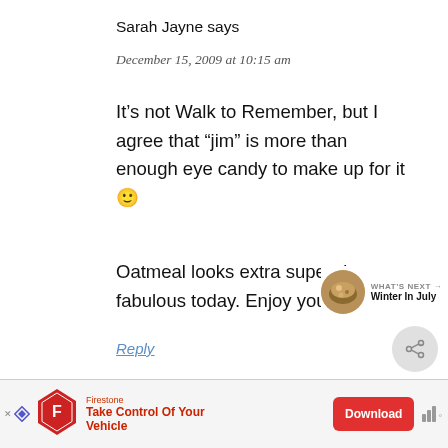Sarah Jayne says
December 15, 2009 at 10:15 am
It’s not Walk to Remember, but I agree that “jim” is more than enough eye candy to make up for it 🙂
Oatmeal looks extra super duper fabulous today. Enjoy your day!
Reply
[Figure (other): What's Next promotional widget showing food image and text 'Winter In July']
[Figure (other): Firestone advertisement banner: 'Take Control Of Your Vehicle' with Download button]